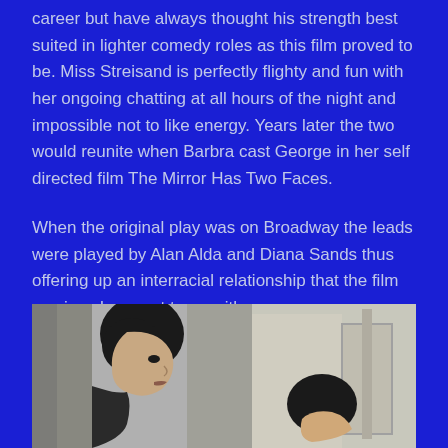career but have always thought his strength best suited in lighter comedy roles as this film proved to be. Miss Streisand is perfectly flighty and fun with her ongoing chatting at all hours of the night and impossible not to like energy. Years later the two would reunite when Barbra cast George in her self directed film The Mirror Has Two Faces.
When the original play was on Broadway the leads were played by Alan Alda and Diana Sands thus offering up an interracial relationship that the film version chose not to go with.
[Figure (photo): Black and white photograph showing two people, a woman on the left with short dark hair in profile, and another person partially visible on the right side]